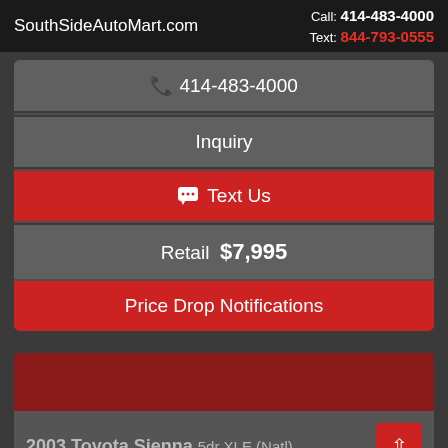SouthSideAutoMart.com | Call: 414-483-4000 | Text: 844-793-0555
📞 414-483-4000
Inquiry
💬 Text Us
Retail $7,995
Price Drop Notifications
2003 Toyota Sienna 5dr XLE (Natl)
💬 Text Us